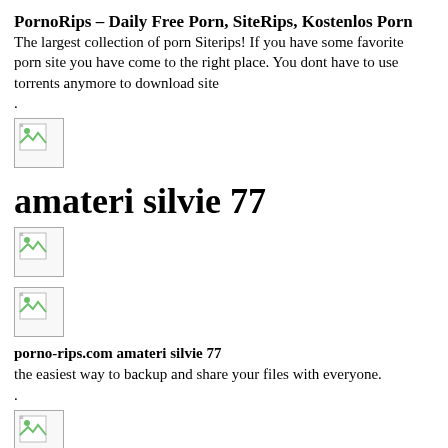PornoRips – Daily Free Porn, SiteRips, Kostenlos Porn
The largest collection of porn Siterips! If you have some favorite porn site you have come to the right place. You dont have to use torrents anymore to download site
.
[Figure (other): Broken image placeholder icon]
amateri silvie 77
[Figure (other): Broken image placeholder icon]
[Figure (other): Broken image placeholder icon]
porno-rips.com amateri silvie 77
the easiest way to backup and share your files with everyone.
.
[Figure (other): Broken image placeholder icon]